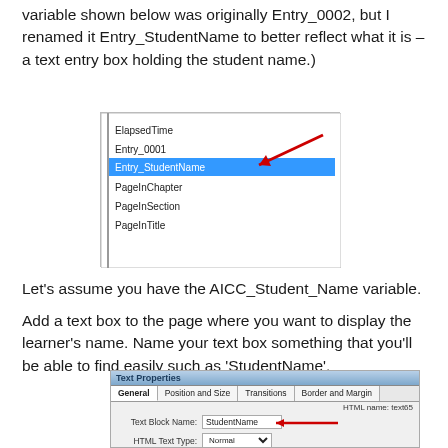variable shown below was originally Entry_0002, but I renamed it Entry_StudentName to better reflect what it is – a text entry box holding the student name.)
[Figure (screenshot): A list box showing variables: ElapsedTime, Entry_0001, Entry_StudentName (highlighted in blue and selected), PageInChapter, PageInSection, PageInTitle. A red arrow points to Entry_StudentName.]
Let's assume you have the AICC_Student_Name variable.
Add a text box to the page where you want to display the learner's name. Name your text box something that you'll be able to find easily such as 'StudentName'.
[Figure (screenshot): Text Properties dialog box showing General tab active. HTML name: text65. Text Block Name field shows 'StudentName' with a red arrow pointing to it. HTML Text Type shows 'Normal' dropdown.]